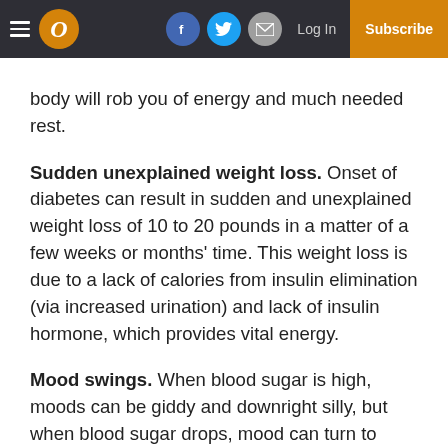O Magazine — Log In | Subscribe
body will rob you of energy and much needed rest.
Sudden unexplained weight loss. Onset of diabetes can result in sudden and unexplained weight loss of 10 to 20 pounds in a matter of a few weeks or months' time. This weight loss is due to a lack of calories from insulin elimination (via increased urination) and lack of insulin hormone, which provides vital energy.
Mood swings. When blood sugar is high, moods can be giddy and downright silly, but when blood sugar drops, mood can turn to irritable and downright